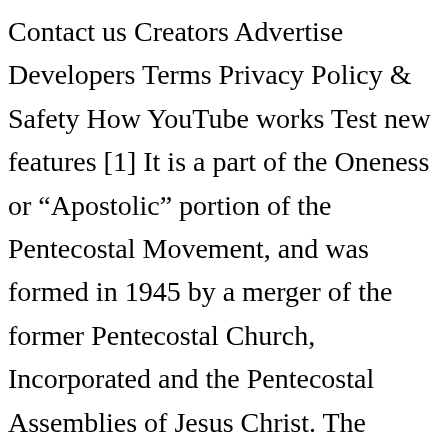Contact us Creators Advertise Developers Terms Privacy Policy & Safety How YouTube works Test new features [1] It is a part of the Oneness or “Apostolic” portion of the Pentecostal Movement, and was formed in 1945 by a merger of the former Pentecostal Church, Incorporated and the Pentecostal Assemblies of Jesus Christ. The United Church of Christ in the Philippines (Tagalog: Ang Nagkaisang Iglesia ni Cristo sa Pilipinas; Ilokano: Nagkaykaysa nga Iglesia Ni Cristo iti Filipinas) is a Christian denomination in the Philippines. It was founded in 1919 by Robert